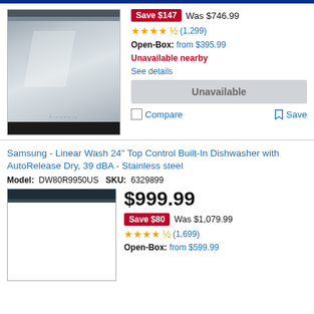[Figure (photo): Stainless steel built-in dishwasher product photo, first product]
Save $147  Was $746.99
★★★★½ (1,299)
Open-Box: from $395.99
Unavailable nearby
See details
Unavailable
Compare   Save
Samsung - Linear Wash 24" Top Control Built-In Dishwasher with AutoRelease Dry, 39 dBA - Stainless steel
Model: DW80R9950US   SKU: 6329899
[Figure (photo): Stainless steel Samsung dishwasher product photo, second product]
$999.99
Save $80  Was $1,079.99
★★★★½ (1,699)
Open-Box: from $599.99